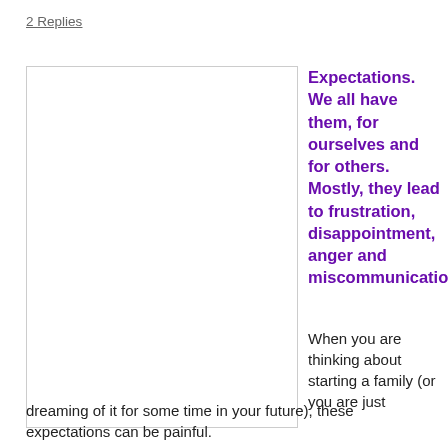2 Replies
[Figure (photo): A blank white image placeholder with a light border]
Expectations. We all have them, for ourselves and for others. Mostly, they lead to frustration, disappointment, anger and miscommunication.
When you are thinking about starting a family (or you are just dreaming of it for some time in your future), these expectations can be painful.